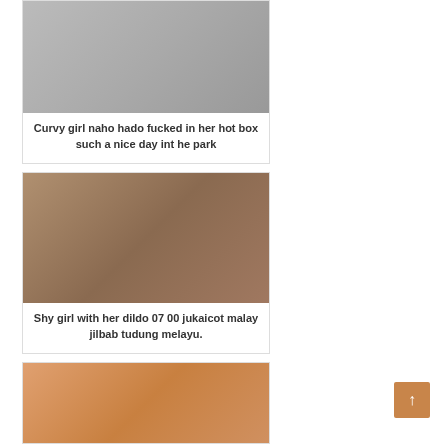[Figure (photo): Partially visible photo placeholder at top]
Curvy girl naho hado fucked in her hot box such a nice day int he park
[Figure (photo): Photo of a person sitting]
Shy girl with her dildo 07 00 jukaicot malay jilbab tudung melayu.
[Figure (photo): Photo of a blonde person partially visible at bottom]